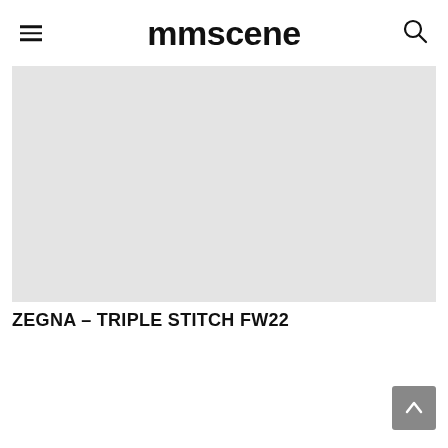mmscene
[Figure (photo): Large light gray placeholder image area for Zegna Triple Stitch FW22 editorial]
ZEGNA – TRIPLE STITCH FW22